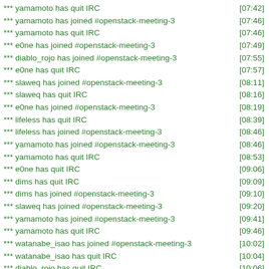*** yamamoto has quit IRC [07:42]
*** yamamoto has joined #openstack-meeting-3 [07:46]
*** yamamoto has quit IRC [07:46]
*** e0ne has joined #openstack-meeting-3 [07:49]
*** diablo_rojo has joined #openstack-meeting-3 [07:55]
*** e0ne has quit IRC [07:57]
*** slaweq has joined #openstack-meeting-3 [08:11]
*** slaweq has quit IRC [08:16]
*** e0ne has joined #openstack-meeting-3 [08:19]
*** lifeless has quit IRC [08:39]
*** lifeless has joined #openstack-meeting-3 [08:46]
*** yamamoto has joined #openstack-meeting-3 [08:46]
*** yamamoto has quit IRC [08:53]
*** e0ne has quit IRC [09:06]
*** dims has quit IRC [09:09]
*** dims has joined #openstack-meeting-3 [09:10]
*** slaweq has joined #openstack-meeting-3 [09:20]
*** yamamoto has joined #openstack-meeting-3 [09:41]
*** yamamoto has quit IRC [09:46]
*** watanabe_isao has joined #openstack-meeting-3 [10:02]
*** watanabe_isao has quit IRC [10:04]
*** diablo_rojo has quit IRC [10:06]
*** alex_xu has joined #openstack-meeting-3 [10:07]